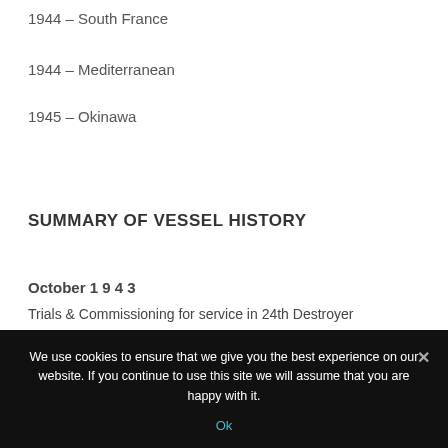1944 – South France
1944 – Mediterranean
1945 – Okinawa
SUMMARY OF VESSEL HISTORY
October 1 9 4 3
Trials & Commissioning for service in 24th Destroyer
We use cookies to ensure that we give you the best experience on our website. If you continue to use this site we will assume that you are happy with it.
Ok